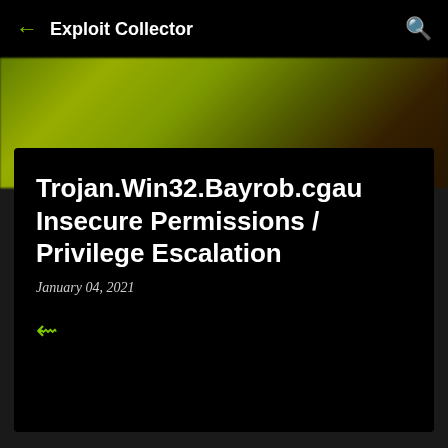Exploit Collector
[Figure (photo): Blurred green and dark background hero image]
Trojan.Win32.Bayrob.cgau Insecure Permissions / Privilege Escalation
January 04, 2021